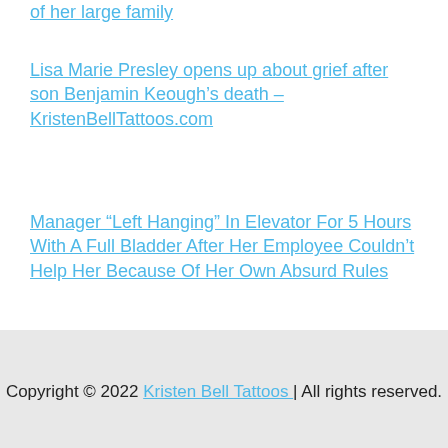of her large family
Lisa Marie Presley opens up about grief after son Benjamin Keough’s death – KristenBellTattoos.com
Manager “Left Hanging” In Elevator For 5 Hours With A Full Bladder After Her Employee Couldn’t Help Her Because Of Her Own Absurd Rules
Copyright © 2022 Kristen Bell Tattoos | All rights reserved.